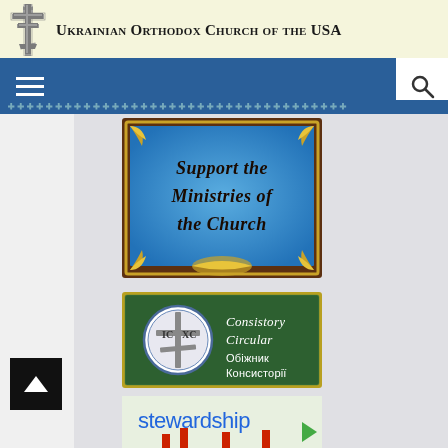Ukrainian Orthodox Church of the USA
[Figure (logo): Ukrainian Orthodox cross logo in silver/grey]
[Figure (screenshot): Navigation bar with hamburger menu and search icon]
[Figure (illustration): Support the Ministries of the Church - decorative blue and gold banner with ornamental border]
[Figure (illustration): Consistory Circular / Обіжник Консисторії - green banner with IC XC medallion]
[Figure (illustration): Stewardship banner with green background and red candles]